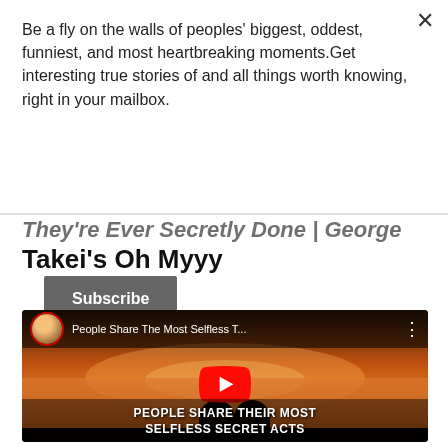Be a fly on the walls of peoples' biggest, oddest, funniest, and most heartbreaking moments.Get interesting true stories of and all things worth knowing, right in your mailbox.
Subscribe
Takei's Oh Myyy
[Figure (screenshot): YouTube video thumbnail showing two people sitting together at sunset with the title 'PEOPLE SHARE THEIR MOST SELFLESS SECRET ACTS' and a YouTube play button overlay. Video title bar reads 'People Share The Most Selfless T...']